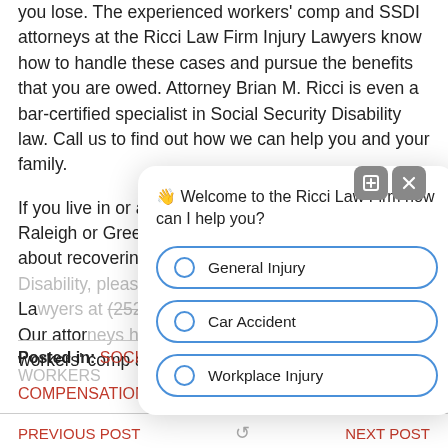you lose. The experienced workers' comp and SSDI attorneys at the Ricci Law Firm Injury Lawyers know how to handle these cases and pursue the benefits that you are owed. Attorney Brian M. Ricci is even a bar-certified specialist in Social Security Disability law. Call us to find out how we can help you and your family.
If you live in or around Fayetteville, Charlotte, Raleigh or Greenville, NC, and want to know more about recovering workers' comp and Social Security Disability, please call the Ricci Law Firm Injury Lawyers at (252) 222-2222 for a free consultation. Our attorneys have lengthy experience securing workers' comp and SSDI benefits for our clients.
Posted in: SOCIAL SECURITY DISABILITY, WORKERS COMPENSATION
[Figure (screenshot): Chat popup overlay from Ricci Law Firm website showing welcome message '👋 Welcome to the Ricci Law Firm how can I help you?' with three radio button options: General Injury, Car Accident, Workplace Injury. Expand and close icons appear in top-right corner of popup.]
PREVIOUS POST
NEXT POST